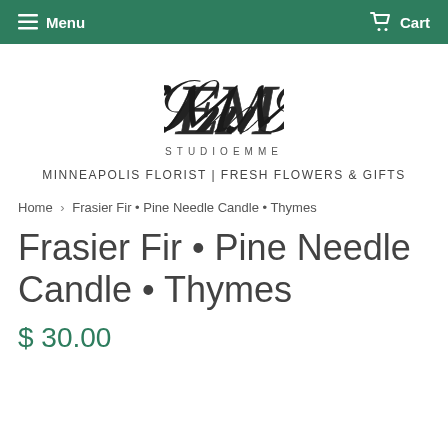Menu  Cart
[Figure (logo): Studio Emme decorative script monogram logo with cursive letters, followed by 'STUDIOEMME' in spaced capitals]
MINNEAPOLIS FLORIST | FRESH FLOWERS & GIFTS
Home › Frasier Fir • Pine Needle Candle • Thymes
Frasier Fir • Pine Needle Candle • Thymes
$ 30.00